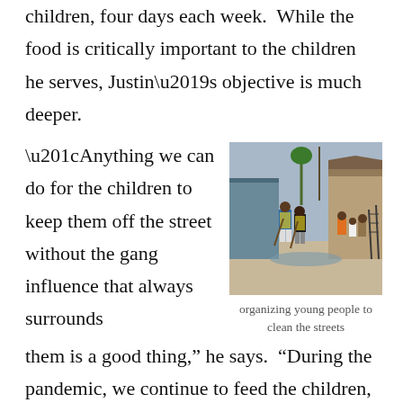children, four days each week.  While the food is critically important to the children he serves, Justin’s objective is much deeper.
“Anything we can do for the children to keep them off the street without the gang influence that always surrounds them is a good thing,” he says.  “During the pandemic, we continue to feed the children,
[Figure (photo): Young people in yellow vests organizing to clean streets in what appears to be a developing-country neighborhood]
organizing young people to clean the streets